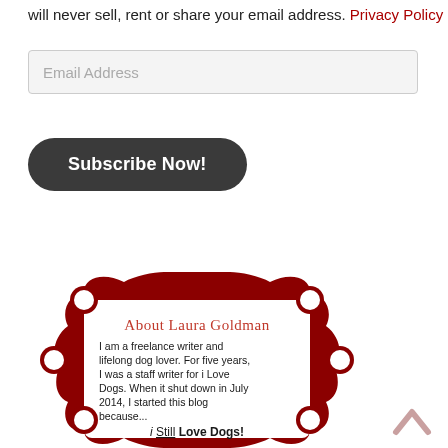will never sell, rent or share your email address. Privacy Policy
[Figure (other): Email address input field with placeholder text 'Email Address']
[Figure (other): Subscribe Now! button, dark rounded rectangle]
[Figure (illustration): Decorative red ornate frame containing 'About Laura Goldman' author bio card. Title: 'About Laura Goldman'. Body: 'I am a freelance writer and lifelong dog lover. For five years, I was a staff writer for i Love Dogs. When it shut down in July 2014, I started this blog because... i Still Love Dogs!']
[Figure (other): Back to top arrow icon, pink/salmon upward chevron]